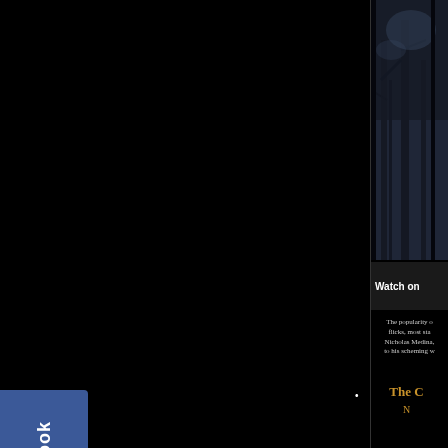[Figure (photo): Dark moody image of trees or a forest scene, visible in the upper right corner of the page]
Watch on
The popularity of flicks, most sta Nicholas Medina, to his scheming w
The C N
[Figure (logo): Facebook social media tab/button on the left side, blue background with white text reading Facebook written vertically]